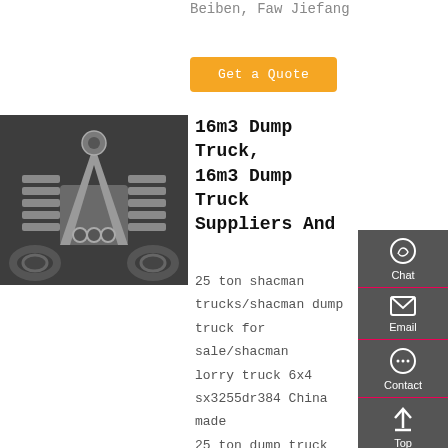Beiben, Faw Jiefang
Get a Quote
[Figure (photo): Close-up engine/drivetrain of a dump truck, showing cylinders and mechanical components from below]
16m3 Dump Truck, 16m3 Dump Truck Suppliers And
25 ton shacman trucks/shacman dump truck for sale/shacman lorry truck 6x4 sx3255dr384 China made 25 ton dump truck SX3255DR384 shaanxi truck Max. running speed